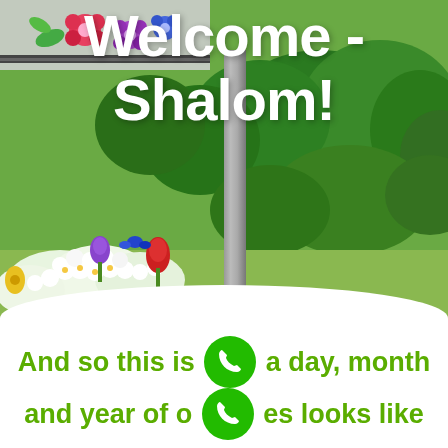[Figure (photo): Garden scene with colorful flowers including white petunias and red tulips in the foreground, green shrubs and bushes in the background, and a gray metal post/pillar. At the top left there appears to be a decorative mosaic or tile artwork with colorful flower shapes.]
Welcome - Shalom!
And so this is [phone icon] a day, month and year of o[phone icon]es looks like (more or less)...as we Live the